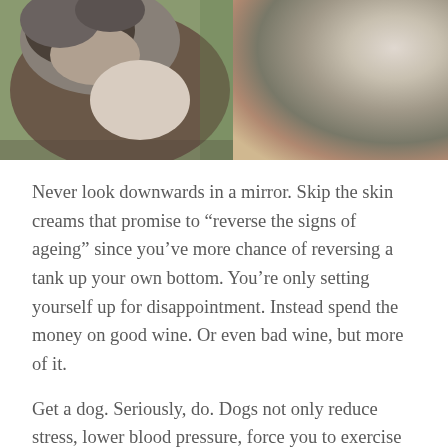[Figure (photo): Two dogs photographed outdoors — a large grey/brown dog on the left facing upward, and a smaller white and brown dog on the right with mouth open, with a green background.]
Never look downwards in a mirror. Skip the skin creams that promise to “reverse the signs of ageing” since you’ve more chance of reversing a tank up your own bottom. You’re only setting yourself up for disappointment. Instead spend the money on good wine. Or even bad wine, but more of it.
Get a dog. Seriously, do. Dogs not only reduce stress, lower blood pressure, force you to exercise and promote sociability, but once you tip into old age your preoccupations will collide perfectly because you’ll both be thinking “Who is going to feed me?” and “Who is going to take me out?” and “Who is going to brush me?”